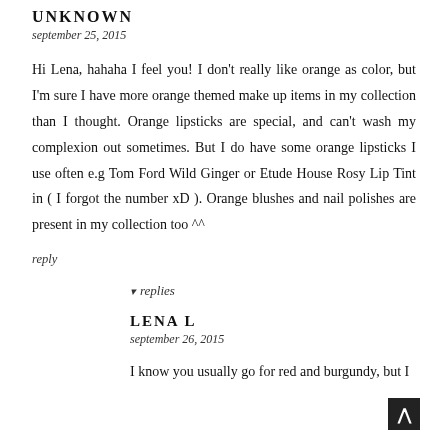UNKNOWN
september 25, 2015
Hi Lena, hahaha I feel you! I don't really like orange as color, but I'm sure I have more orange themed make up items in my collection than I thought. Orange lipsticks are special, and can't wash my complexion out sometimes. But I do have some orange lipsticks I use often e.g Tom Ford Wild Ginger or Etude House Rosy Lip Tint in ( I forgot the number xD ). Orange blushes and nail polishes are present in my collection too ^^
reply
▾ replies
LENA L
september 26, 2015
I know you usually go for red and burgundy, but I